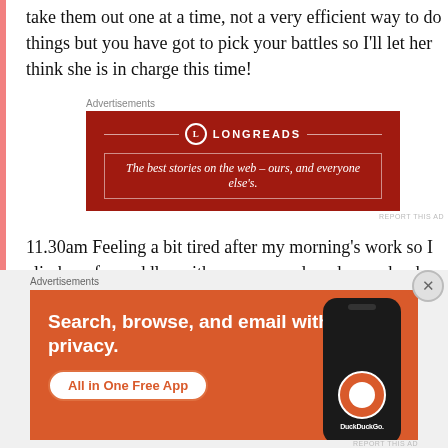take them out one at a time, not a very efficient way to do things but you have got to pick your battles so I'll let her think she is in charge this time!
[Figure (infographic): Longreads advertisement banner: dark red background with logo and tagline 'The best stories on the web – ours, and everyone else's.']
11.30am Feeling a bit tired after my morning's work so I climb up for cuddles with mummy and read some books. She seems to interpret this as nap time, I like to kick up a bit of a fuss when she tells me to go to
[Figure (infographic): DuckDuckGo advertisement: orange background with text 'Search, browse, and email with more privacy. All in One Free App' and phone graphic with DuckDuckGo logo.]